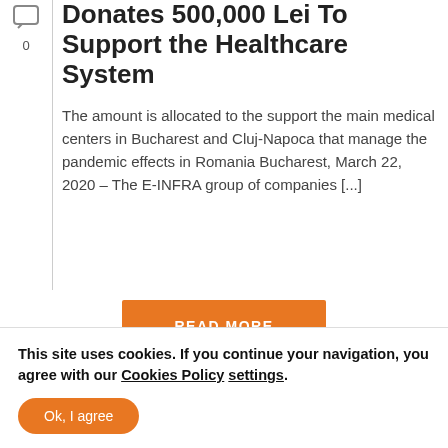[Figure (other): Chat/comment icon with count 0]
Donates 500,000 Lei To Support the Healthcare System
The amount is allocated to the support the main medical centers in Bucharest and Cluj-Napoca that manage the pandemic effects in Romania Bucharest, March 22, 2020 – The E-INFRA group of companies [...]
READ MORE
This site uses cookies. If you continue your navigation, you agree with our Cookies Policy settings.
Ok, I agree